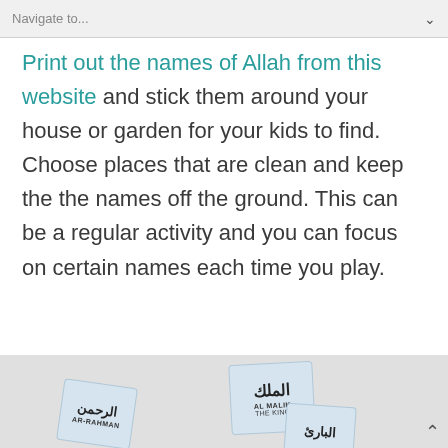Navigate to...
Print out the names of Allah from this website and stick them around your house or garden for your kids to find. Choose places that are clean and keep the the names off the ground. This can be a regular activity and you can focus on certain names each time you play.
[Figure (photo): Cards showing names of Allah in Arabic and English including Al-Malik (The King) and Al-Rahman]